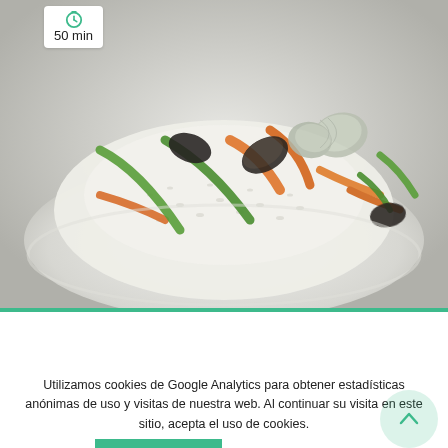[Figure (photo): A plate of rice with fish, vegetables (green beans, carrots), and shellfish (mussels, clams) on a white dish]
50 min
RICE AND FISH
TYPE OF DISH: RICES, FISH, VEGETABLES, SHELLFISH
Utilizamos cookies de Google Analytics para obtener estadísticas anónimas de uso y visitas de nuestra web. Al continuar su visita en este sitio, acepta el uso de cookies.
ACEPTAR
Más información